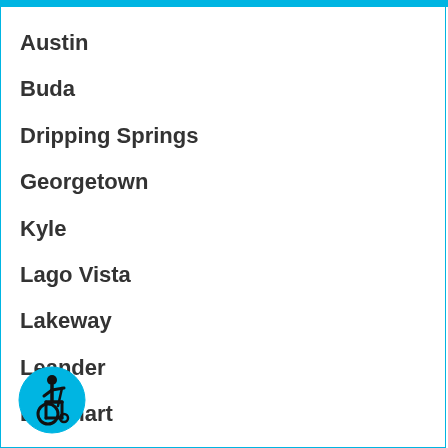Austin
Buda
Dripping Springs
Georgetown
Kyle
Lago Vista
Lakeway
Leander
Lockhart
Luling
Round Rock
[Figure (illustration): Wheelchair accessibility icon — circular blue icon with a white figure in a wheelchair]